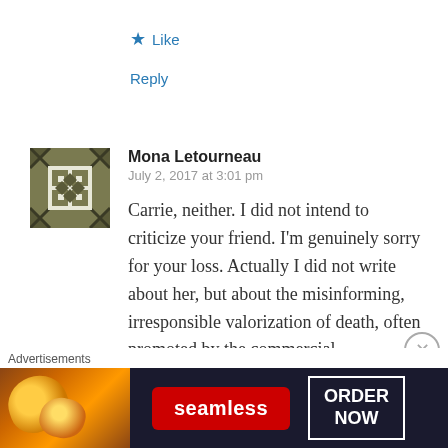★ Like
Reply
Mona Letourneau
July 2, 2017 at 3:01 pm

Carrie, neither. I did not intend to criticize your friend. I'm genuinely sorry for your loss. Actually I did not write about her, but about the misinforming, irresponsible valorization of death, often promoted by the commercial
[Figure (illustration): Decorative avatar image with geometric/quilt pattern in olive green and white]
Advertisements
[Figure (screenshot): Seamless advertisement banner showing pizza image, Seamless logo in red, and ORDER NOW button]